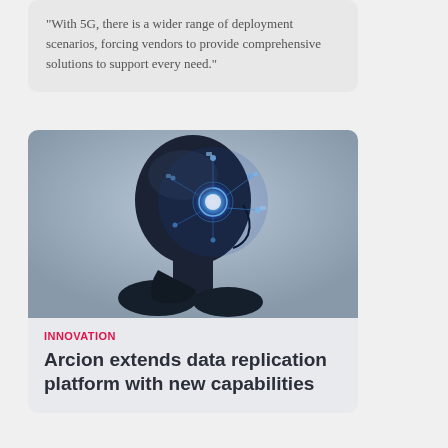"With 5G, there is a wider range of deployment scenarios, forcing vendors to provide comprehensive solutions to support every need."
[Figure (illustration): AI human head silhouette with glowing blue digital brain and technology icons overlay]
INNOVATION
Arcion extends data replication platform with new capabilities